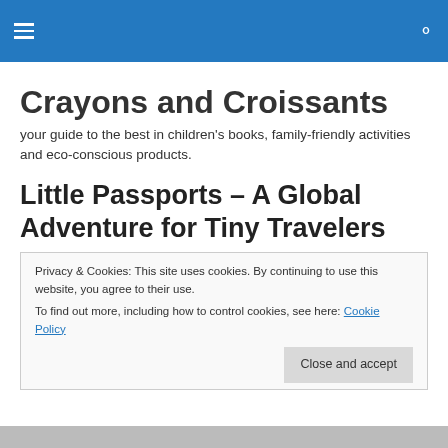Crayons and Croissants — navigation header bar
Crayons and Croissants
your guide to the best in children's books, family-friendly activities and eco-conscious products.
Little Passports – A Global Adventure for Tiny Travelers
Privacy & Cookies: This site uses cookies. By continuing to use this website, you agree to their use. To find out more, including how to control cookies, see here: Cookie Policy
Close and accept